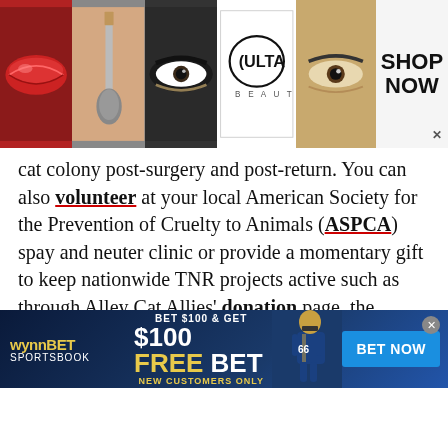[Figure (photo): Top banner advertisement for Ulta Beauty showing cosmetic images (lips with red lipstick, makeup brush, eye with dramatic makeup, Ulta Beauty logo, eye close-up) and 'SHOP NOW' call to action.]
cat colony post-surgery and post-return. You can also volunteer at your local American Society for the Prevention of Cruelty to Animals (ASPCA) spay and neuter clinic or provide a momentary gift to keep nationwide TNR projects active such as through Alley Cat Allies' donation page, the ASPCA's  donation page, or via the HSUS (donation options at the top).
[Figure (photo): Bottom banner advertisement for WynnBET Sportsbook: 'BET $100 & GET $100 FREE BET NEW CUSTOMERS ONLY' with a football player image and 'BET NOW' blue button.]